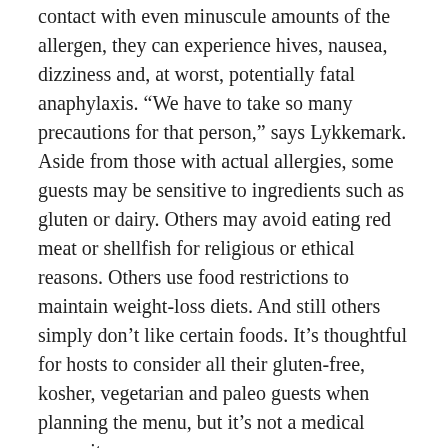contact with even minuscule amounts of the allergen, they can experience hives, nausea, dizziness and, at worst, potentially fatal anaphylaxis. “We have to take so many precautions for that person,” says Lykkemark. Aside from those with actual allergies, some guests may be sensitive to ingredients such as gluten or dairy. Others may avoid eating red meat or shellfish for religious or ethical reasons. Others use food restrictions to maintain weight-loss diets. And still others simply don’t like certain foods. It’s thoughtful for hosts to consider all their gluten-free, kosher, vegetarian and paleo guests when planning the menu, but it’s not a medical necessity.
Consider the chef
Don’t think you’re being polite by downplaying allergies: It’s essential to let the chef know if there are serious issues, because it changes how things are